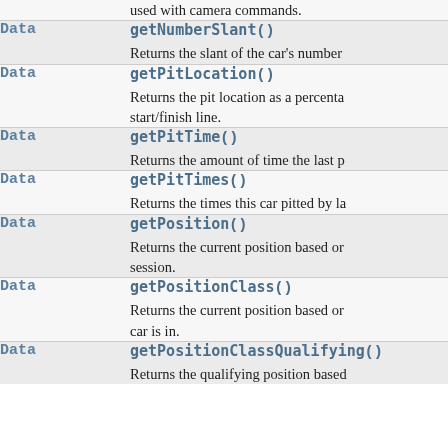| Type | Method |
| --- | --- |
|  | used with camera commands. |
| Data | getNumberSlant()
Returns the slant of the car's number |
| Data | getPitLocation()
Returns the pit location as a percentage start/finish line. |
| Data | getPitTime()
Returns the amount of time the last p |
| Data | getPitTimes()
Returns the times this car pitted by la |
| Data | getPosition()
Returns the current position based on session. |
| Data | getPositionClass()
Returns the current position based on car is in. |
| Data | getPositionClassQualifying()
Returns the qualifying position based |